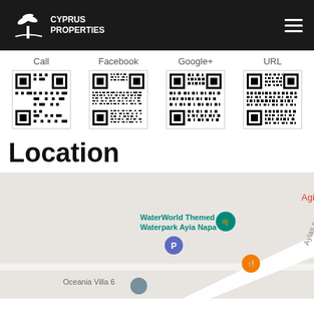Cyprus Properties
[Figure (other): QR code labeled Call]
[Figure (other): QR code labeled Facebook]
[Figure (other): QR code labeled Google+]
[Figure (other): QR code labeled URL]
Location
[Figure (map): Google Maps screenshot showing WaterWorld Themed Waterpark Ayia Napa, Oceania Villa 6, parking pin, food pin, and road label Ayias, with partial text Agi in red top right]